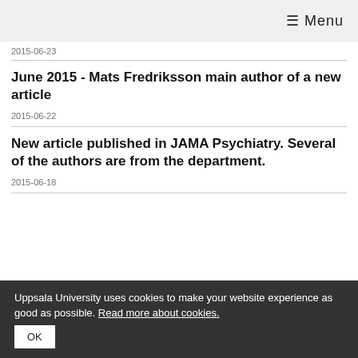≡ Menu
2015-06-23
June 2015 - Mats Fredriksson main author of a new article
2015-06-22
New article published in JAMA Psychiatry. Several of the authors are from the department.
2015-06-18
Uppsala University uses cookies to make your website experience as good as possible. Read more about cookies.